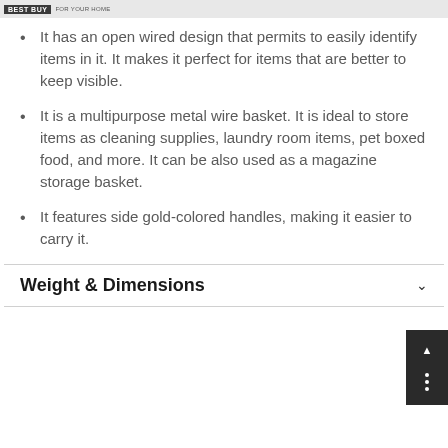FOR YOUR HOME
It has an open wired design that permits to easily identify items in it. It makes it perfect for items that are better to keep visible.
It is a multipurpose metal wire basket. It is ideal to store items as cleaning supplies, laundry room items, pet boxed food, and more. It can be also used as a magazine storage basket.
It features side gold-colored handles, making it easier to carry it.
Weight & Dimensions